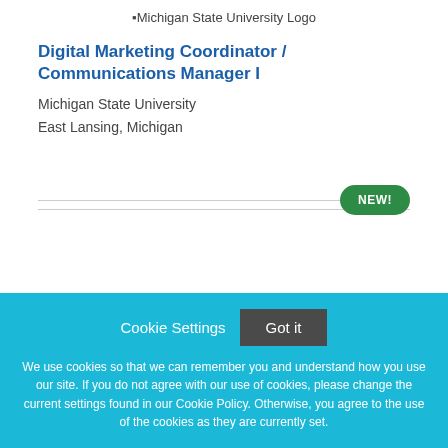[Figure (logo): Michigan State University Logo]
Digital Marketing Coordinator / Communications Manager I
Michigan State University
East Lansing, Michigan
[Figure (other): NEW! badge button in green]
Cookie Settings   Got it
We use cookies so that we can remember you and understand how you use our site. If you do not agree with our use of cookies, please change the current settings found in our Cookie Policy. Otherwise, you agree to the use of the cookies as they are currently set.